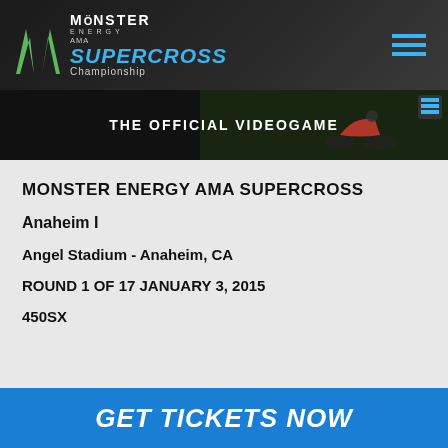[Figure (logo): Monster Energy AMA Supercross Championship logo with green Monster M claw icon and blue Supercross text on dark background header]
[Figure (photo): Advertisement banner for The Official Videogame showing a motocross bike rider on dark background with text THE OFFICIAL VIDEOGAME]
MONSTER ENERGY AMA SUPERCROSS
Anaheim I
Angel Stadium - Anaheim, CA
ROUND 1 OF 17 January 3, 2015
450SX
GET TICKETS NOW